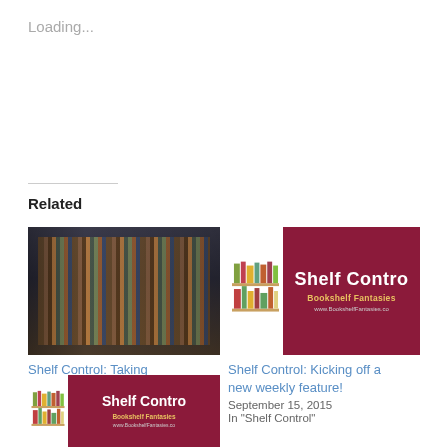Loading...
Related
[Figure (photo): Photo of a bookshelf packed with many books in a dark room]
Shelf Control: Taking Stock
January 23, 2019
In "Shelf Control"
[Figure (illustration): Shelf Control branded image with dark red/maroon background, illustrated books on a shelf, text: Shelf Contro, Bookshelf Fantasies, www.BookshelfFantasies.co]
Shelf Control: Kicking off a new weekly feature!
September 15, 2015
In "Shelf Control"
[Figure (illustration): Shelf Control branded image with dark red/maroon background, illustrated books on a shelf, text: Shelf Contro, Bookshelf Fantasies, www.BookshelfFantasies.co]
Shelf Control #224: